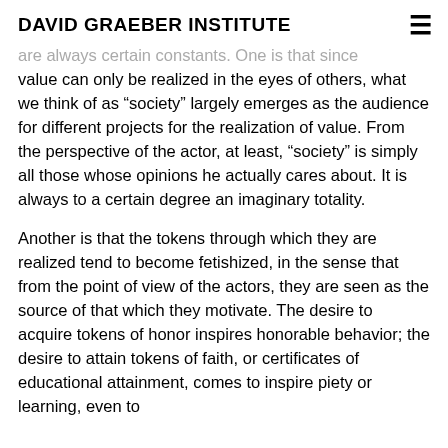DAVID GRAEBER INSTITUTE
are always certain constants. One is that since value can only be realized in the eyes of others, what we think of as “society” largely emerges as the audience for different projects for the realization of value. From the perspective of the actor, at least, “society” is simply all those whose opinions he actually cares about. It is always to a certain degree an imaginary totality.
Another is that the tokens through which they are realized tend to become fetishized, in the sense that from the point of view of the actors, they are seen as the source of that which they motivate. The desire to acquire tokens of honor inspires honorable behavior; the desire to attain tokens of faith, or certificates of educational attainment, comes to inspire piety or learning, even to